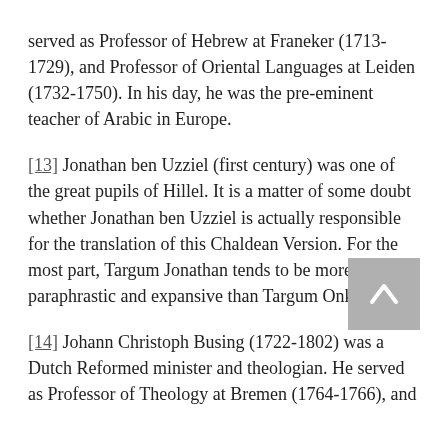served as Professor of Hebrew at Franeker (1713-1729), and Professor of Oriental Languages at Leiden (1732-1750). In his day, he was the pre-eminent teacher of Arabic in Europe.
[13] Jonathan ben Uzziel (first century) was one of the great pupils of Hillel. It is a matter of some doubt whether Jonathan ben Uzziel is actually responsible for the translation of this Chaldean Version. For the most part, Targum Jonathan tends to be more paraphrastic and expansive than Targum Onkelos.
[14] Johann Christoph Busing (1722-1802) was a Dutch Reformed minister and theologian. He served as Professor of Theology at Bremen (1764-1766), and